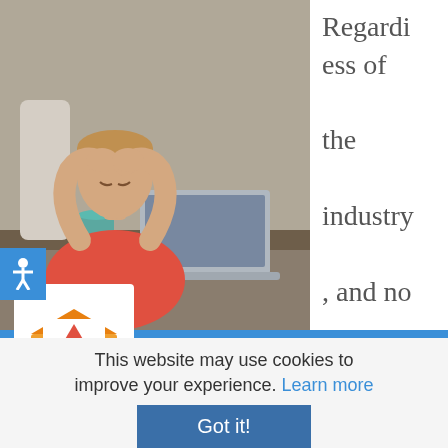[Figure (photo): Photo of a stressed woman with her head in her hands sitting at a laptop computer]
Regardless of the industry, and no matter
PR Hack of the Week
Take advantage of our new resource: PR Hack of the Week.
Each week, we'll deliver a quick and free tip about news, social, and web media.
This website may use cookies to improve your experience. Learn more
Got it!